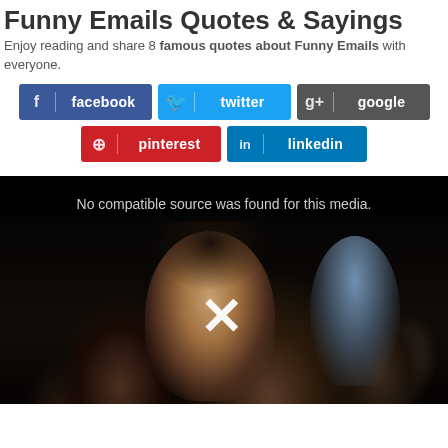Funny Emails Quotes & Sayings
Enjoy reading and share 8 famous quotes about Funny Emails with everyone.
[Figure (screenshot): Social media share buttons: facebook, twitter, google, pinterest, linkedin]
[Figure (photo): Video player showing 'No compatible source was found for this media.' with a dark cinema audience background and a large white X button overlay]